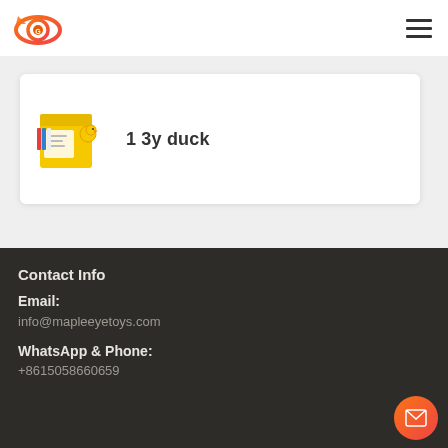Maple Eye Toys logo and navigation
[Figure (photo): Product thumbnail: yellow toy package with a duck figure]
1 3y duck
Contact Info
Email:
info@mapleeyetoys.com
WhatsApp & Phone:
+8615058660659